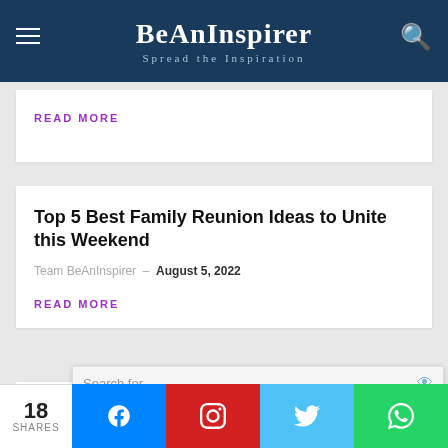BeAnInspirer — Spread the Inspiration
READ MORE
Top 5 Best Family Reunion Ideas to Unite this Weekend
Team BeAnInspirer – August 5, 2022
READ MORE
Kindness Creates Meaningful and Loving Relationship
Search for — Modern Living Room Design
18 SHARES